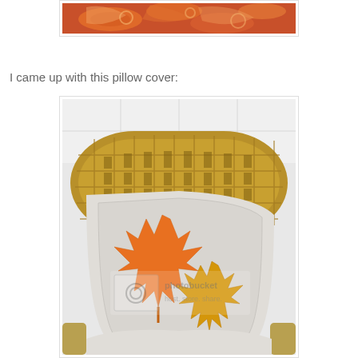[Figure (photo): Partial top image showing a red/orange patterned fabric or textile, cropped at top edge of page]
I came up with this pillow cover:
[Figure (photo): A white/cream pillow cover with two autumn maple leaf appliques — one large orange leaf and one smaller golden/yellow leaf — sitting on a wicker chair. A Photobucket watermark is visible over the image.]